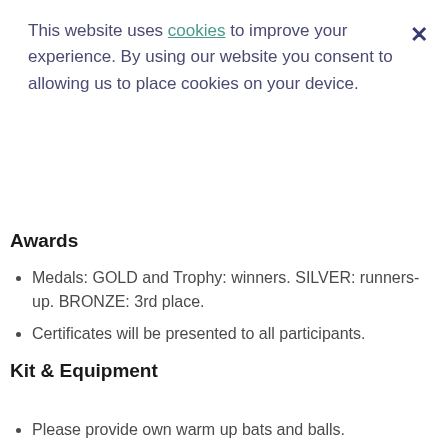This website uses cookies to improve your experience. By using our website you consent to allowing us to place cookies on your device.
Awards
Medals: GOLD and Trophy: winners. SILVER: runners-up. BRONZE: 3rd place.
Certificates will be presented to all participants.
Kit & Equipment
Please provide own warm up bats and balls.